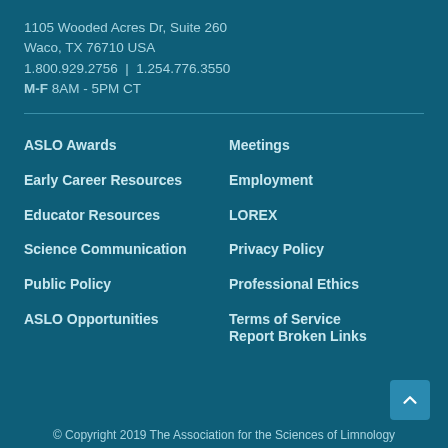1105 Wooded Acres Dr, Suite 260
Waco, TX 76710 USA
1.800.929.2756 | 1.254.776.3550
M-F 8AM - 5PM CT
ASLO Awards
Meetings
Early Career Resources
Employment
Educator Resources
LOREX
Science Communication
Privacy Policy
Public Policy
Professional Ethics
ASLO Opportunities
Terms of Service
Report Broken Links
© Copyright 2019 The Association for the Sciences of Limnology